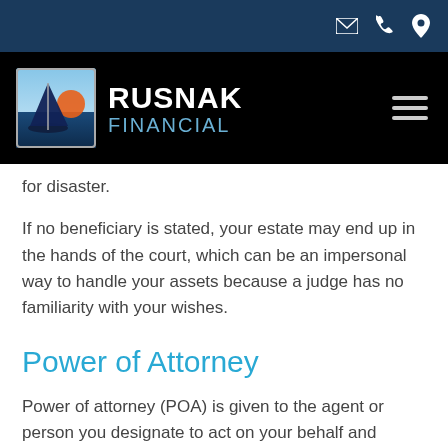Rusnak Financial - header navigation bar
for disaster.
If no beneficiary is stated, your estate may end up in the hands of the court, which can be an impersonal way to handle your assets because a judge has no familiarity with your wishes.
Power of Attorney
Power of attorney (POA) is given to the agent or person you designate to act on your behalf and oversee your will if you